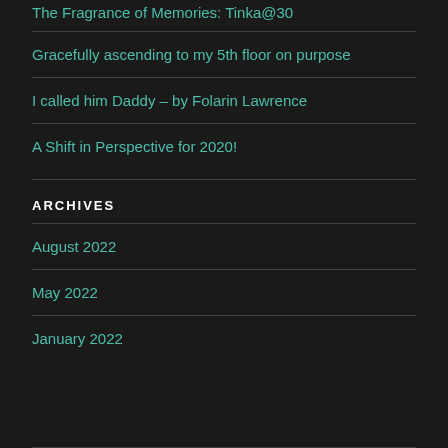The Fragrance of Memories: Tinka@30
Gracefully ascending to my 5th floor on purpose
I called him Daddy – by Folarin Lawrence
A Shift in Perspective for 2020!
ARCHIVES
August 2022
May 2022
January 2022